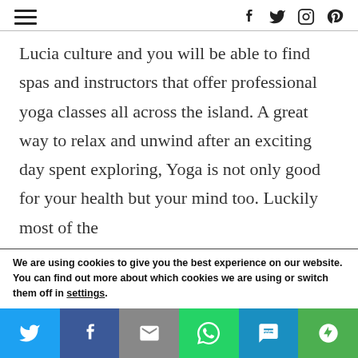[hamburger menu] [social icons: facebook, twitter, instagram, pinterest]
Lucia culture and you will be able to find spas and instructors that offer professional yoga classes all across the island. A great way to relax and unwind after an exciting day spent exploring, Yoga is not only good for your health but your mind too. Luckily most of the
We are using cookies to give you the best experience on our website.
You can find out more about which cookies we are using or switch them off in settings.
[Share bar: Twitter, Facebook, Email, WhatsApp, SMS, More]